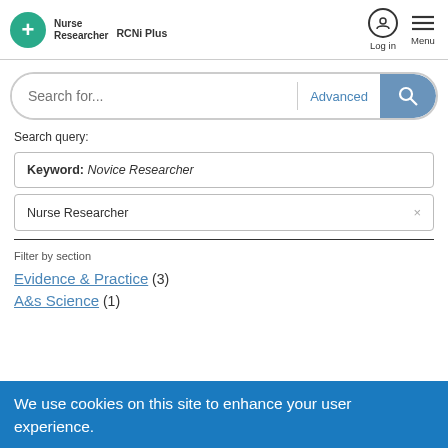RCNi Plus — Nurse Researcher — Log in — Menu
Search for...
Advanced
Search query:
Keyword: Novice Researcher
Nurse Researcher ×
Filter by section
Evidence & Practice (3)
A&s Science (1)
We use cookies on this site to enhance your user experience.